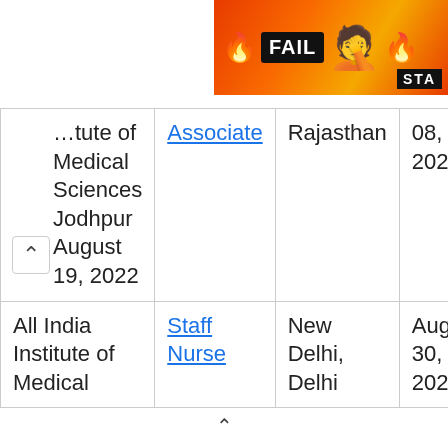[Figure (screenshot): Advertisement banner with FAIL text and cartoon emoji on fire background, with STA text]
| …tute of Medical Sciences Jodhpur
August 19, 2022 | Associate | Rajasthan | 08, 2022 |
| All India Institute of Medical | Staff Nurse | New Delhi, Delhi | Aug 30, 2022 |